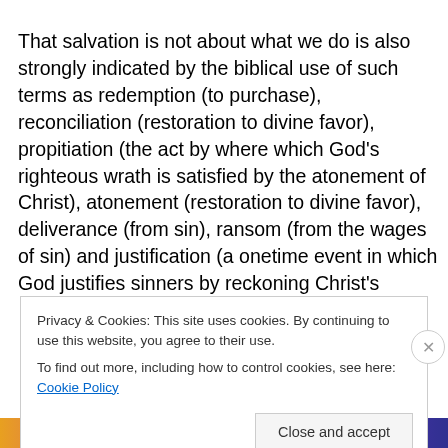That salvation is not about what we do is also strongly indicated by the biblical use of such terms as redemption (to purchase), reconciliation (restoration to divine favor), propitiation (the act by where which God's righteous wrath is satisfied by the atonement of Christ), atonement (restoration to divine favor), deliverance (from sin), ransom (from the wages of sin) and justification (a onetime event in which God justifies sinners by reckoning Christ's
Privacy & Cookies: This site uses cookies. By continuing to use this website, you agree to their use.
To find out more, including how to control cookies, see here: Cookie Policy
Close and accept